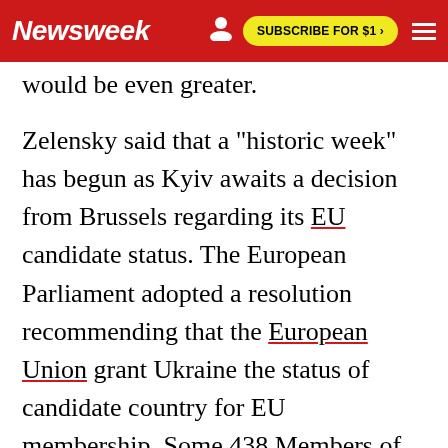Newsweek | SUBSCRIBE FOR $1 >
would be even greater.
Zelensky said that a "historic week" has begun as Kyiv awaits a decision from Brussels regarding its EU candidate status. The European Parliament adopted a resolution recommending that the European Union grant Ukraine the status of candidate country for EU membership. Some 438 Members of the European Parliament voted in favor of the resolution, with 65 voting against and 94 abstaining.